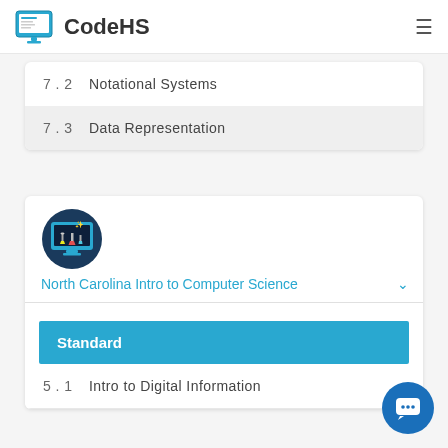CodeHS
7.2  Notational Systems
7.3  Data Representation
[Figure (logo): CodeHS North Carolina Intro to Computer Science course icon — a computer monitor displaying science lab equipment (beakers, flasks) with a circular frame]
North Carolina Intro to Computer Science
Standard
5.1  Intro to Digital Information